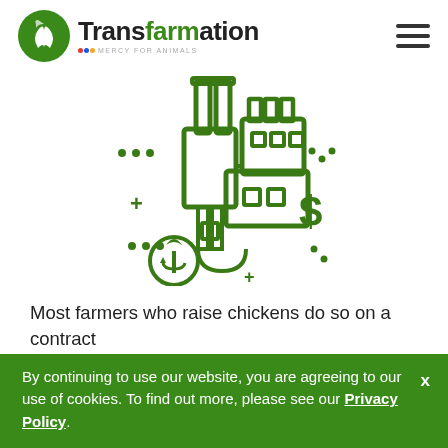Transfarmation | Mercy For Animals
[Figure (illustration): Green line-art illustration of an industrial factory building with smokestacks, pipes, windows, and a leaf/arrow symbol at the bottom, plus decorative dots and plus signs around it, and a green dollar sign to the right.]
Most farmers who raise chickens do so on a contract
By continuing to use our website, you are agreeing to our use of cookies. To find out more, please see our Privacy Policy.